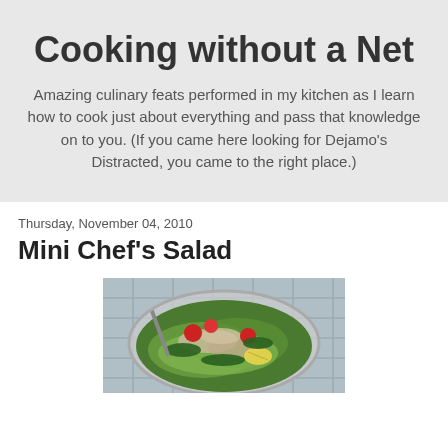Cooking without a Net
Amazing culinary feats performed in my kitchen as I learn how to cook just about everything and pass that knowledge on to you. (If you came here looking for Dejamo's Distracted, you came to the right place.)
Thursday, November 04, 2010
Mini Chef's Salad
[Figure (photo): A bowl of chef's salad with green lettuce, tomatoes, shredded meat, and lemon, on a blue checkered cloth background]